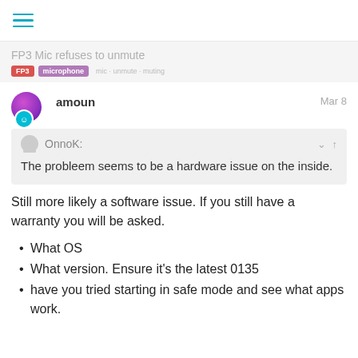hamburger menu icon
FP3 Mic refuses to unmute
OnnoK:
The probleem seems to be a hardware issue on the inside.
Still more likely a software issue. If you still have a warranty you will be asked.
What OS
What version. Ensure it's the latest 0135
have you tried starting in safe mode and see what apps work.